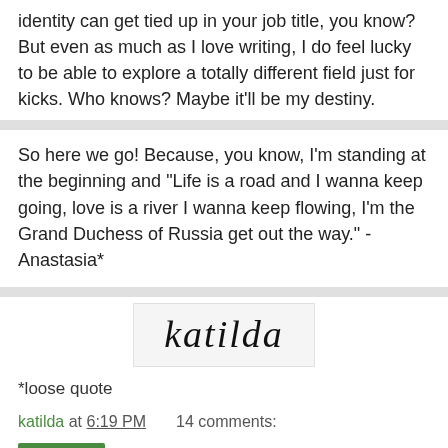identity can get tied up in your job title, you know? But even as much as I love writing, I do feel lucky to be able to explore a totally different field just for kicks. Who knows? Maybe it'll be my destiny.
So here we go! Because, you know, I'm standing at the beginning and "Life is a road and I wanna keep going, love is a river I wanna keep flowing, I'm the Grand Duchess of Russia get out the way." - Anastasia*
[Figure (illustration): Handwritten signature reading 'katilda' in cursive script on a light background]
*loose quote
katilda at 6:19 PM    14 comments:
Share
WEDNESDAY, NOVEMBER 20, 2013
music: dusk & summer